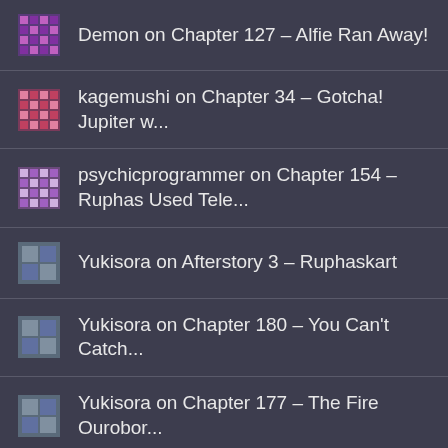Demon on Chapter 127 – Alfie Ran Away!
kagemushi on Chapter 34 – Gotcha! Jupiter w...
psychicprogrammer on Chapter 154 – Ruphas Used Tele...
Yukisora on Afterstory 3 – Ruphaskart
Yukisora on Chapter 180 – You Can't Catch...
Yukisora on Chapter 177 – The Fire Ourobor...
Yukisora on Chapter 156 – A Wild Ophiuchus...
Advertisements
[Figure (photo): MAC Cosmetics advertisement banner showing colorful lipsticks with SHOP NOW button]